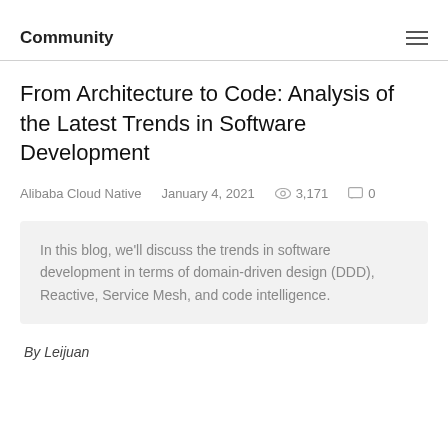Community
From Architecture to Code: Analysis of the Latest Trends in Software Development
Alibaba Cloud Native   January 4, 2021   3,171   0
In this blog, we'll discuss the trends in software development in terms of domain-driven design (DDD), Reactive, Service Mesh, and code intelligence.
By Leijuan